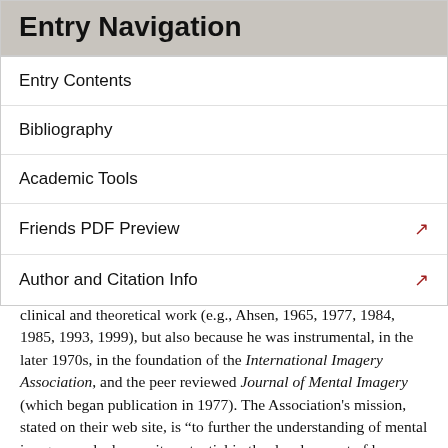Entry Navigation
Entry Contents
Bibliography
Academic Tools
Friends PDF Preview
Author and Citation Info
clinical and theoretical work (e.g., Ahsen, 1965, 1977, 1984, 1985, 1993, 1999), but also because he was instrumental, in the later 1970s, in the foundation of the International Imagery Association, and the peer reviewed Journal of Mental Imagery (which began publication in 1977). The Association's mission, stated on their web site, is “to further the understanding of mental imagery and advance its potential in the development of human consciousness” (see Other Internet Resources). The journal publishes articles on imagery from a wide range of psychological perspectives, including the cognitive. An American Association for the Study of Mental Imagery